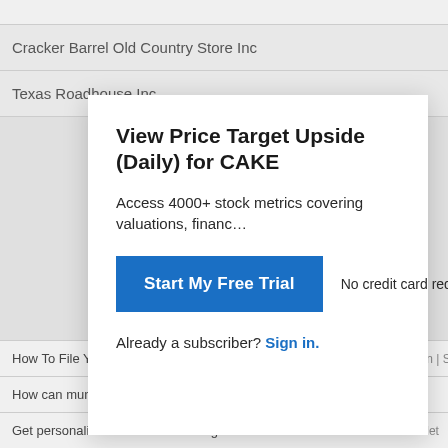Cracker Barrel Old Country Store Inc
Texas Roadhouse Inc
View Price Target Upside (Daily) for CAKE
Access 4000+ stock metrics covering valuations, financials...
Start My Free Trial
No credit card required.
Already a subscriber? Sign in.
How To File Your Employee Retention Credit In 2022
How can muni bonds help during periods of high inflation?
Get personalized advice with the right online financial advisors